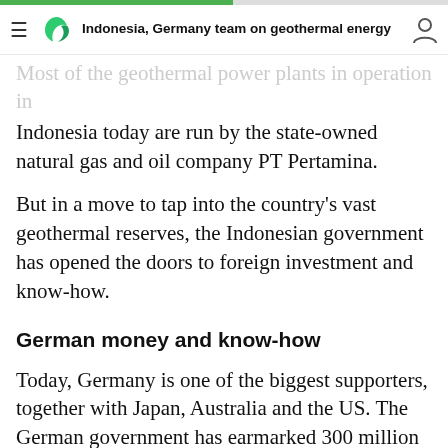Indonesia, Germany team on geothermal energy
Most of the geothermal power plants in operation in Indonesia today are run by the state-owned natural gas and oil company PT Pertamina.
But in a move to tap into the country's vast geothermal reserves, the Indonesian government has opened the doors to foreign investment and know-how.
German money and know-how
Today, Germany is one of the biggest supporters, together with Japan, Australia and the US. The German government has earmarked 300 million euros in aid.
Although Germany is not a “volcanic country,” it has extensive geothermal expertise, admits Professor Ernst Huenges from the German Research Center for Geosciences in Potsdam.